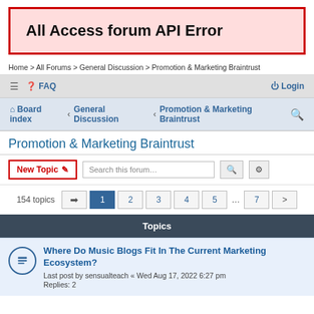All Access forum API Error
Home > All Forums > General Discussion > Promotion & Marketing Braintrust
≡  ❓ FAQ    ⏻ Login
⌂ Board index  ‹  General Discussion  ‹  Promotion & Marketing Braintrust  🔍
Promotion & Marketing Braintrust
New Topic ✏   Search this forum...   🔍   ⚙
154 topics   ➡  1  2  3  4  5  ...  7  >
Topics
Where Do Music Blogs Fit In The Current Marketing Ecosystem?
Last post by sensualteach « Wed Aug 17, 2022 6:27 pm
Replies: 2